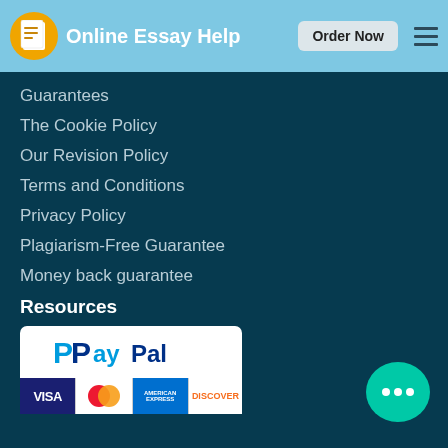Online Essay Help — Order Now
Guarantees
The Cookie Policy
Our Revision Policy
Terms and Conditions
Privacy Policy
Plagiarism-Free Guarantee
Money back guarantee
Resources
[Figure (logo): PayPal logo with white background]
[Figure (logo): Payment card logos: Visa, Mastercard, American Express, Discover]
[Figure (other): Teal chat bubble with ellipsis icon]